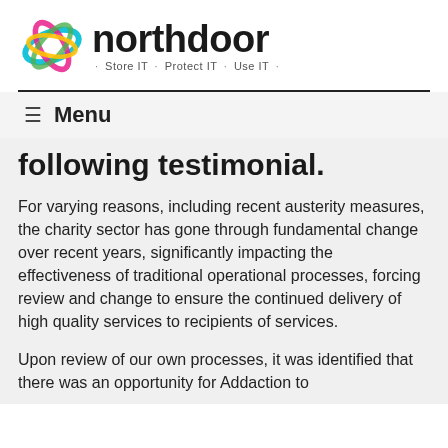[Figure (logo): Northdoor logo with colorful swirling ribbon graphic and text 'northdoor · Store IT · Protect IT · Use IT ·']
following testimonial.
For varying reasons, including recent austerity measures, the charity sector has gone through fundamental change over recent years, significantly impacting the effectiveness of traditional operational processes, forcing review and change to ensure the continued delivery of high quality services to recipients of services.
Upon review of our own processes, it was identified that there was an opportunity for Addaction to